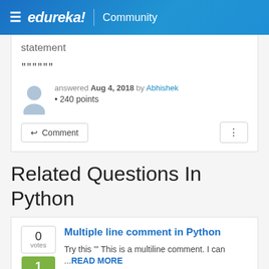edureka! | Community
statement
"""
answered Aug 4, 2018 by Abhishek • 240 points
Related Questions In Python
Multiple line comment in Python
Try this ''' This is a multiline comment. I can ...READ MORE
answered May 31, 2018 in Python by charlie_brown